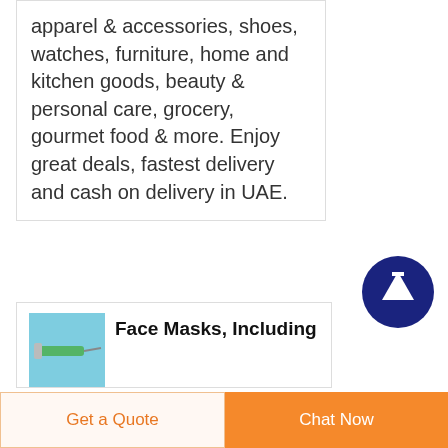apparel & accessories, shoes, watches, furniture, home and kitchen goods, beauty & personal care, grocery, gourmet food & more. Enjoy great deals, fastest delivery and cash on delivery in UAE.
[Figure (screenshot): Blue thumbnail image of a medical syringe/needle on a light blue background]
Face Masks, Including Surgical Masks, and Respirators for
· A The FDA regulates face masks, including cloth face coverings, and surgical masks
[Figure (other): Dark navy blue circular scroll-to-top button with white upward arrow icon]
Get a Quote   Chat Now